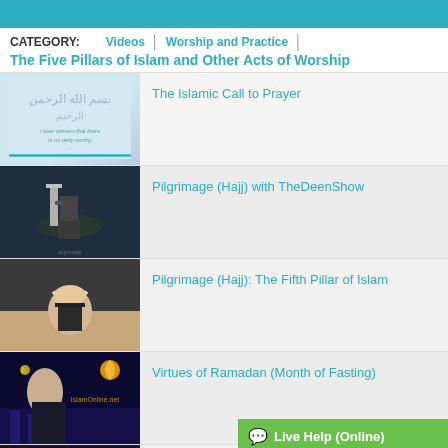CATEGORY: Videos | Worship and Practice | The Five Pillars of Islam and Other Acts of Worship
The Islamic Call to Prayer
Pilgrimage (Hajj) with TheDeenShow
Pilgrimage (Hajj): The Fifth Pillar of Islam
Virtues of Ramadan (Month of Fasting)
Why do Muslims Fast during Ramadan?
Live Help (Online) — Have a question about Islam or converting to it? CLICK HERE TO CHAT NOW!